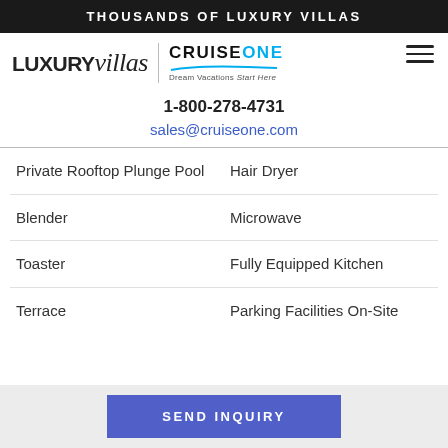THOUSANDS OF LUXURY VILLAS
[Figure (logo): Luxury Villas logo combined with CruiseOne Dream Vacations Start Here logo, with hamburger menu icon]
1-800-278-4731
sales@cruiseone.com
Private Rooftop Plunge Pool
Hair Dryer
Blender
Microwave
Toaster
Fully Equipped Kitchen
Terrace
Parking Facilities On-Site
SEND INQUIRY